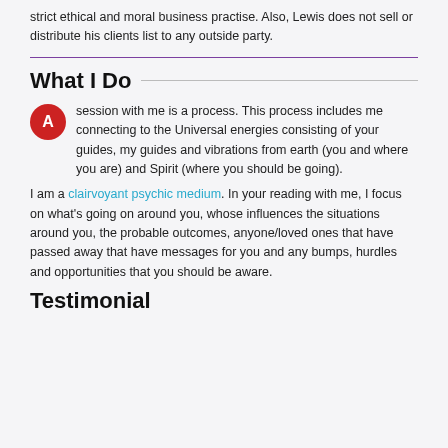strict ethical and moral business practise.  Also, Lewis does not sell or distribute his clients list to any outside party.
What I Do
A session with me is a process.  This process includes me connecting to the Universal energies consisting of your guides, my guides and vibrations from earth (you and where you are) and Spirit (where you should be going).
I am a clairvoyant psychic medium.  In your reading with me, I focus on what's going on around you, whose influences the situations around you,  the probable outcomes, anyone/loved ones that have passed away that have messages for you and any bumps, hurdles and opportunities that you should be aware.
Testimonial